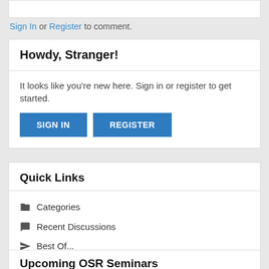Sign In or Register to comment.
Howdy, Stranger!
It looks like you're new here. Sign in or register to get started.
SIGN IN
REGISTER
Quick Links
Categories
Recent Discussions
Best Of...
Upcoming OSR Seminars